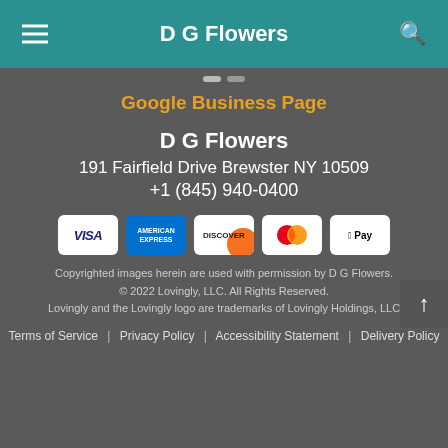D G Flowers
Google Business Page
D G Flowers
191 Fairfield Drive Brewster NY 10509
+1 (845) 940-0400
[Figure (logo): Payment method icons: Visa, American Express, Discover, Mastercard, Apple Pay]
Copyrighted images herein are used with permission by D G Flowers. © 2022 Lovingly, LLC. All Rights Reserved. Lovingly and the Lovingly logo are trademarks of Lovingly Holdings, LLC
Terms of Service | Privacy Policy | Accessibility Statement | Delivery Policy